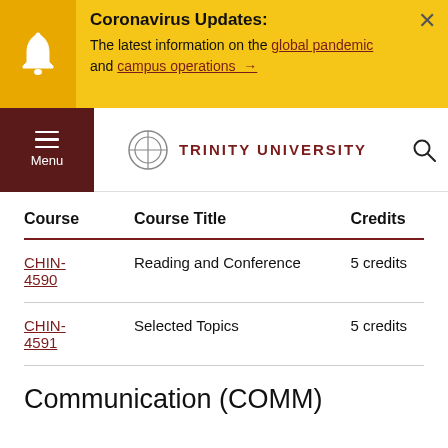Coronavirus Updates: The latest information on the global pandemic and campus operations →
[Figure (screenshot): Trinity University navigation bar with menu and logo]
| Course | Course Title | Credits |
| --- | --- | --- |
| CHIN-4590 | Reading and Conference | 5 credits |
| CHIN-4591 | Selected Topics | 5 credits |
Communication (COMM)